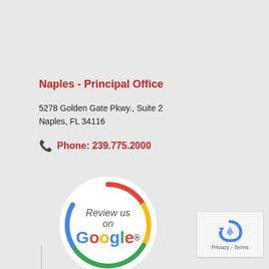Naples - Principal Office
5278 Golden Gate Pkwy., Suite 2
Naples, FL 34116
Phone: 239.775.2000
[Figure (logo): Review us on Google badge - circular badge with Google colors (blue, red, yellow, green) ring and text 'Review us on Google' in center]
[Figure (other): reCAPTCHA widget showing Privacy - Terms]